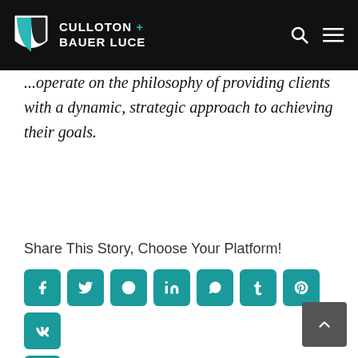CULLOTON + BAUER LUCE
operate on the philosophy of providing clients with a dynamic, strategic approach to achieving their goals.
Share This Story, Choose Your Platform!
[Figure (infographic): Social sharing buttons: Facebook, Twitter, Reddit, LinkedIn, WhatsApp, Tumblr, Pinterest, VK, Email]